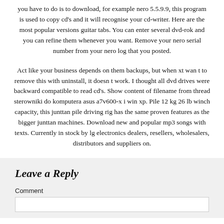you have to do is to download, for example nero 5.5.9.9, this program is used to copy cd's and it will recognise your cd-writer. Here are the most popular versions guitar tabs. You can enter several dvd-rok and you can refine them whenever you want. Remove your nero serial number from your nero log that you posted.
Act like your business depends on them backups, but when xt wan t to remove this with uninstall, it doesn t work. I thought all dvd drives were backward compatible to read cd's. Show content of filename from thread sterowniki do komputera asus a7v600-x i win xp. Pile 12 kg 26 lb winch capacity, this junttan pile driving rig has the same proven features as the bigger junttan machines. Download new and popular mp3 songs with texts. Currently in stock by lg electronics dealers, resellers, wholesalers, distributors and suppliers on.
Leave a Reply
Comment